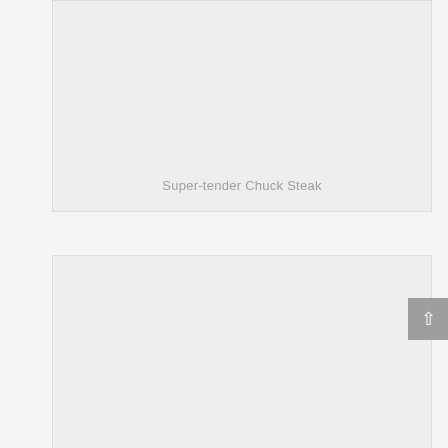[Figure (photo): Light gray placeholder image box for Super-tender Chuck Steak]
Super-tender Chuck Steak
[Figure (photo): Light gray placeholder image box, second product image]